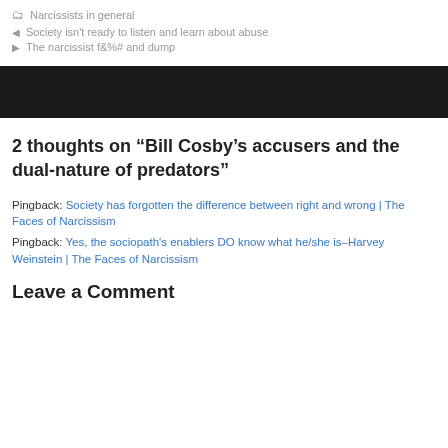Narcissists in general
Society isn't ready to listen and learn about abuse
The narcissist f&%# and dump
[Figure (other): Dark/black horizontal banner bar]
2 thoughts on “Bill Cosby’s accusers and the dual-nature of predators”
Pingback: Society has forgotten the difference between right and wrong | The Faces of Narcissism
Pingback: Yes, the sociopath's enablers DO know what he/she is–Harvey Weinstein | The Faces of Narcissism
Leave a Comment